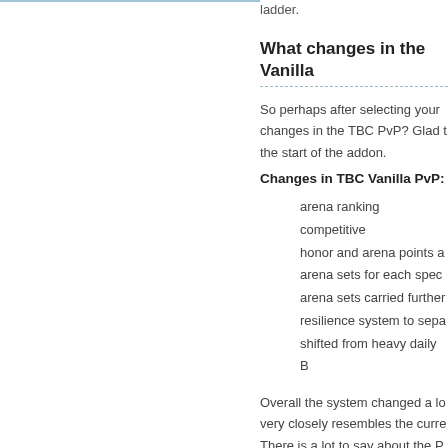ladder.
What changes in the Vanilla
So perhaps after selecting your changes in the TBC PvP? Glad the start of the addon.
Changes in TBC Vanilla PvP:
arena ranking competitive
honor and arena points a
arena sets for each spec
arena sets carried further
resilience system to sepa
shifted from heavy daily B
Overall the system changed a lo very closely resembles the curre There is a lot to say about the P action and make your character